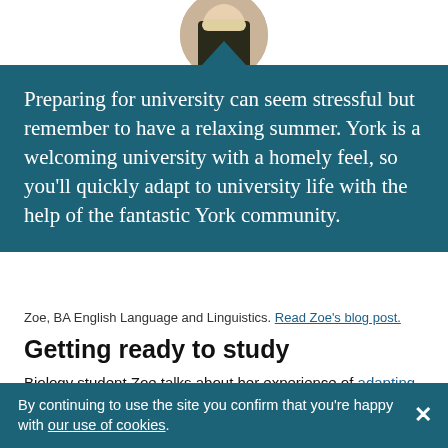[Figure (photo): Circular profile photo of a blonde woman (Zoe) partially visible at top of page]
Preparing for university can seem stressful but remember to have a relaxing summer. York is a welcoming university with a homely feel, so you’ll quickly adapt to university life with the help of the fantastic York community.
Zoe, BA English Language and Linguistics. Read Zoe’s blog post.
Getting ready to study
Biology student Zoe talks about her experience of adapting to independent study at university and gives some s
By continuing to use the site you confirm that you’re happy with our use of cookies.